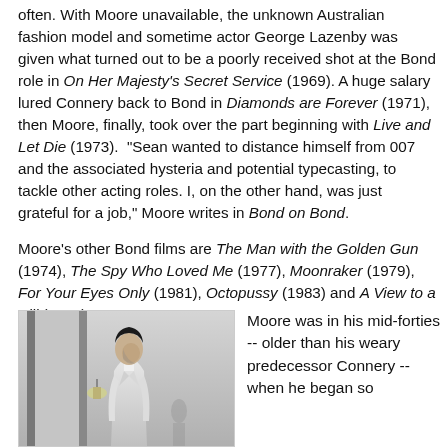often. With Moore unavailable, the unknown Australian fashion model and sometime actor George Lazenby was given what turned out to be a poorly received shot at the Bond role in On Her Majesty's Secret Service (1969). A huge salary lured Connery back to Bond in Diamonds are Forever (1971), then Moore, finally, took over the part beginning with Live and Let Die (1973).  "Sean wanted to distance himself from 007 and the associated hysteria and potential typecasting, to tackle other acting roles. I, on the other hand, was just grateful for a job," Moore writes in Bond on Bond.
Moore's other Bond films are The Man with the Golden Gun (1974), The Spy Who Loved Me (1977), Moonraker (1979), For Your Eyes Only (1981), Octopussy (1983) and A View to a Kill (1985).
[Figure (photo): Black and white photograph of a man in a white suit, head bowed, standing near a doorway with a wall sconce lamp visible.]
Moore was in his mid-forties -- older than his weary predecessor Connery -- when he began so